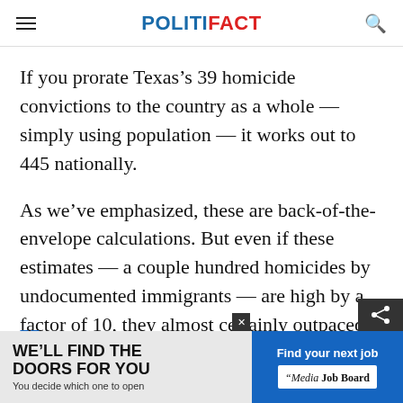POLITIFACT
If you prorate Texas’s 39 homicide convictions to the country as a whole — simply using population — it works out to 445 nationally.
As we’ve emphasized, these are back-of-the-envelope calculations. But even if these estimates — a couple hundred homicides by undocumented immigrants — are high by a factor of 10, they almost certainly outpaced the five lettuce deaths in 2018.
[Figure (other): Advertisement banner: 'WE'LL FIND THE DOORS FOR YOU – You decide which one to open' on left, 'Find your next job – Media Job Board' on right blue panel]